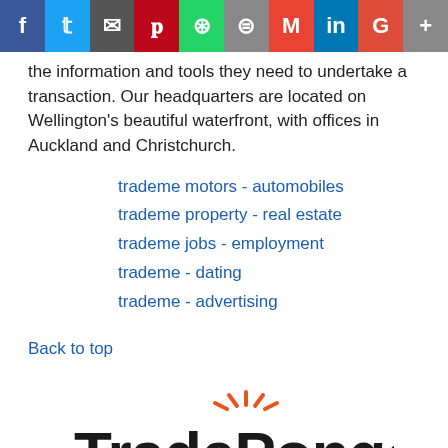[Figure (infographic): Social media sharing bar with icons for Facebook, Twitter, Email, Pinterest, WhatsApp, Print, Gmail, LinkedIn, Google+, and a plus button]
the information and tools they need to undertake a transaction. Our headquarters are located on Wellington's beautiful waterfront, with offices in Auckland and Christchurch.
trademe motors - automobiles
trademe property - real estate
trademe jobs - employment
trademe - dating
trademe - advertising
Back to top
[Figure (logo): TradePongo logo with orange sunburst/rays above letter 'o' and black sans-serif text]